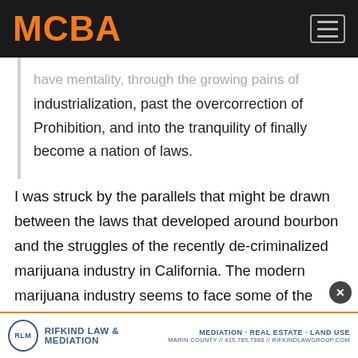MCBA
...have mentality, through the growing pains of industrialization, past the overcorrection of Prohibition, and into the tranquility of finally become a nation of laws.
I was struck by the parallels that might be drawn between the laws that developed around bourbon and the struggles of the recently de-criminalized marijuana industry in California. The modern marijuana industry seems to face some of the same issues that the bourbon industry did post-Prohibition. The trademark,
RLM RIFKIND LAW & MEDIATION | MEDIATION · REAL ESTATE · LAND USE | MARIN COUNTY // 415.785.7988 // RIFKINDLAWGROUP.COM